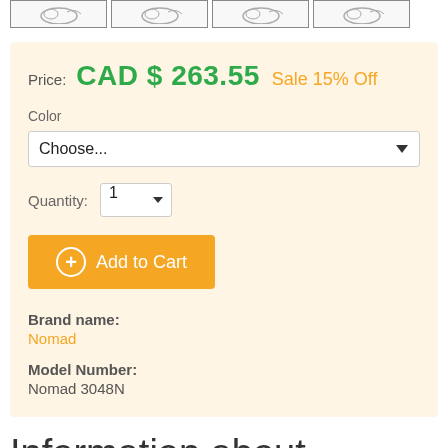[Figure (illustration): Row of four product thumbnail images showing the same earphone/earbud item from similar angles, each in a bordered box.]
Price: CAD $ 263.55 Sale 15% Off
Color
Choose...
Quantity: 1
Add to Cart
Brand name: Nomad
Model Number: Nomad 3048N
Information about